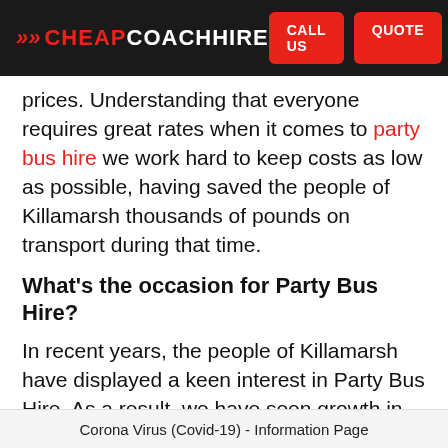CHEAPCOACHHIRE | CALL US | QUOTE
prices. Understanding that everyone requires great rates when it comes to party bus hire we work hard to keep costs as low as possible, having saved the people of Killamarsh thousands of pounds on transport during that time.
What's the occasion for Party Bus Hire?
In recent years, the people of Killamarsh have displayed a keen interest in Party Bus Hire. As a result, we have seen growth in many different areas of our business. Investing in our staff and vehicles
Corona Virus (Covid-19) - Information Page